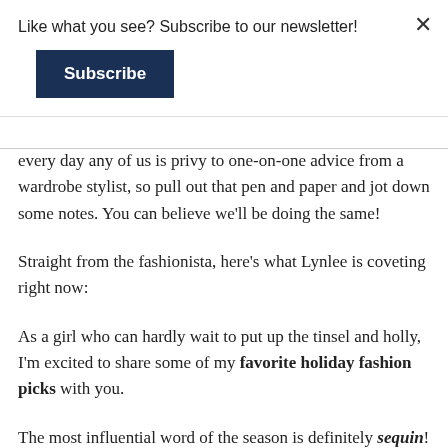Like what you see? Subscribe to our newsletter!
Subscribe
every day any of us is privy to one-on-one advice from a wardrobe stylist, so pull out that pen and paper and jot down some notes. You can believe we'll be doing the same!
Straight from the fashionista, here's what Lynlee is coveting right now:
As a girl who can hardly wait to put up the tinsel and holly, I'm excited to share some of my favorite holiday fashion picks with you.
The most influential word of the season is definitely sequin! Whether itâ€™s a fabulous embellished blazer, a black sequined